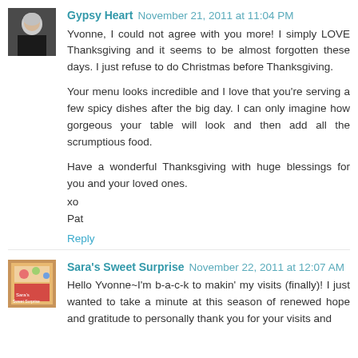[Figure (photo): Small avatar photo of a person with short gray/white hair against dark background]
Gypsy Heart November 21, 2011 at 11:04 PM
Yvonne, I could not agree with you more! I simply LOVE Thanksgiving and it seems to be almost forgotten these days. I just refuse to do Christmas before Thanksgiving.

Your menu looks incredible and I love that you're serving a few spicy dishes after the big day. I can only imagine how gorgeous your table will look and then add all the scrumptious food.

Have a wonderful Thanksgiving with huge blessings for you and your loved ones.
xo
Pat
Reply
[Figure (photo): Small square avatar image showing colorful sweets/candy arrangement with Sara's Sweet Surprise branding]
Sara's Sweet Surprise November 22, 2011 at 12:07 AM
Hello Yvonne~I'm b-a-c-k to makin' my visits (finally)! I just wanted to take a minute at this season of renewed hope and gratitude to personally thank you for your visits and